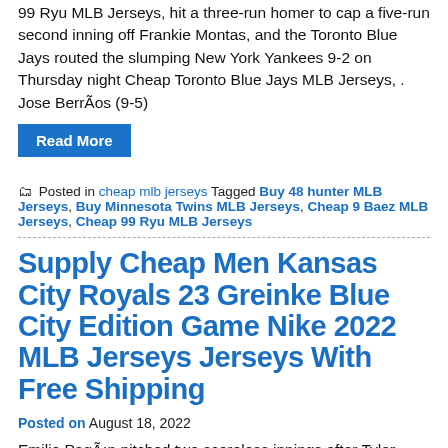99 Ryu MLB Jerseys, hit a three-run homer to cap a five-run second inning off Frankie Montas, and the Toronto Blue Jays routed the slumping New York Yankees 9-2 on Thursday night Cheap Toronto Blue Jays MLB Jerseys, . Jose BerrÃos (9-5)
Read More
Posted in cheap mlb jerseys Tagged Buy 48 hunter MLB Jerseys, Buy Minnesota Twins MLB Jerseys, Cheap 9 Baez MLB Jerseys, Cheap 99 Ryu MLB Jerseys
Supply Cheap Men Kansas City Royals 23 Greinke Blue City Edition Game Nike 2022 MLB Jerseys Jerseys With Free Shipping
Posted on August 18, 2022
Emilio PagÃ¡n pitched two scoreless innings after Tyler